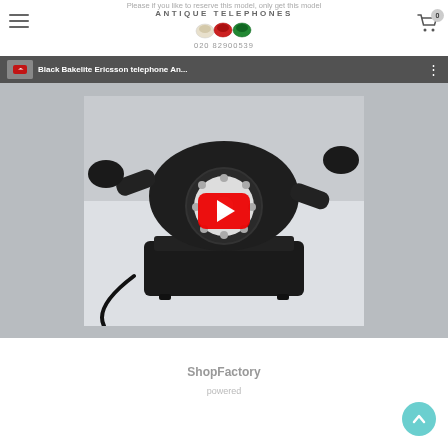Antique Telephones — 020 82900539
Please if you like to reserve this model, only get this model
[Figure (screenshot): YouTube video thumbnail showing a Black Bakelite Ericsson telephone on a white surface, with YouTube play button overlay. Video title bar reads: Black Bakelite Ericsson telephone An...]
ShopFactory powered